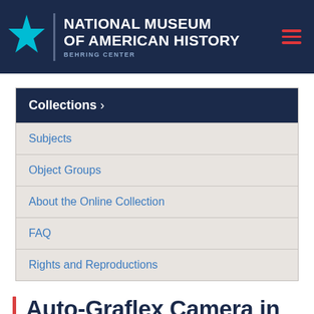NATIONAL MUSEUM OF AMERICAN HISTORY BEHRING CENTER
Collections >
Subjects
Object Groups
About the Online Collection
FAQ
Rights and Reproductions
Auto-Graflex Camera in Underwater Housing